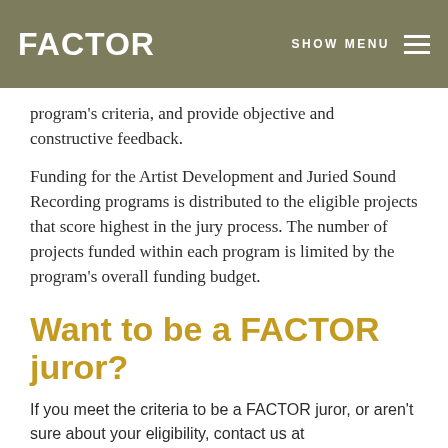FACTOR   SHOW MENU
program’s criteria, and provide objective and constructive feedback.
Funding for the Artist Development and Juried Sound Recording programs is distributed to the eligible projects that score highest in the jury process. The number of projects funded within each program is limited by the program’s overall funding budget.
Want to be a FACTOR juror?
If you meet the criteria to be a FACTOR juror, or aren’t sure about your eligibility, contact us at juror@factor.ca.